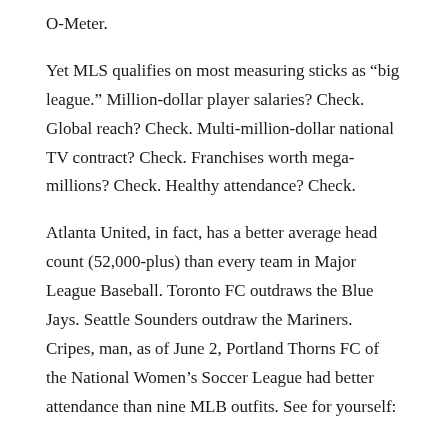O-Meter.
Yet MLS qualifies on most measuring sticks as “big league.” Million-dollar player salaries? Check. Global reach? Check. Multi-million-dollar national TV contract? Check. Franchises worth mega-millions? Check. Healthy attendance? Check.
Atlanta United, in fact, has a better average head count (52,000-plus) than every team in Major League Baseball. Toronto FC outdraws the Blue Jays. Seattle Sounders outdraw the Mariners. Cripes, man, as of June 2, Portland Thorns FC of the National Women’s Soccer League had better attendance than nine MLB outfits. See for yourself:
As of June 2. MLS/NWSL teams in bold face.